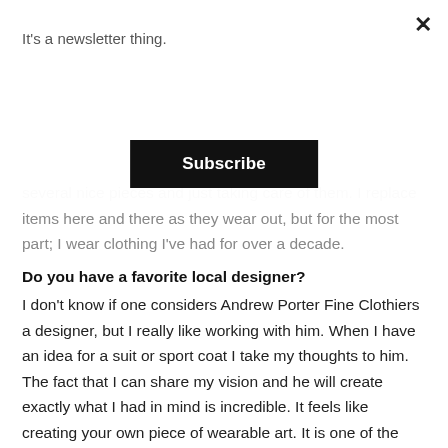It's a newsletter thing.
Subscribe
several nice pieces and just taking care of them. I replace items here and there as they wear out, but for the most part; I wear clothing I've had for over a decade.
Do you have a favorite local designer?
I don't know if one considers Andrew Porter Fine Clothiers a designer, but I really like working with him. When I have an idea for a suit or sport coat I take my thoughts to him. The fact that I can share my vision and he will create exactly what I had in mind is incredible. It feels like creating your own piece of wearable art. It is one of the purest forms of self-expression and feels incredibly gratifying. He is truly an artist.
Describe your thoughts on the fashion scene here in Indy. What do you like and what do you think could be better?